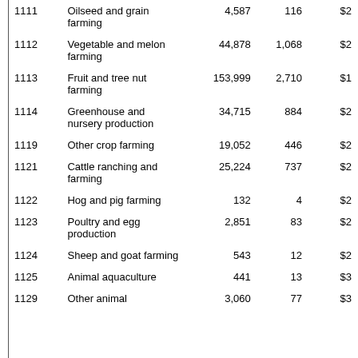| Code | Description | Col1 | Col2 | Col3 |
| --- | --- | --- | --- | --- |
| 1111 | Oilseed and grain farming | 4,587 | 116 | $2 |
| 1112 | Vegetable and melon farming | 44,878 | 1,068 | $2 |
| 1113 | Fruit and tree nut farming | 153,999 | 2,710 | $1 |
| 1114 | Greenhouse and nursery production | 34,715 | 884 | $2 |
| 1119 | Other crop farming | 19,052 | 446 | $2 |
| 1121 | Cattle ranching and farming | 25,224 | 737 | $2 |
| 1122 | Hog and pig farming | 132 | 4 | $2 |
| 1123 | Poultry and egg production | 2,851 | 83 | $2 |
| 1124 | Sheep and goat farming | 543 | 12 | $2 |
| 1125 | Animal aquaculture | 441 | 13 | $3 |
| 1129 | Other animal | 3,060 | 77 | $3 |